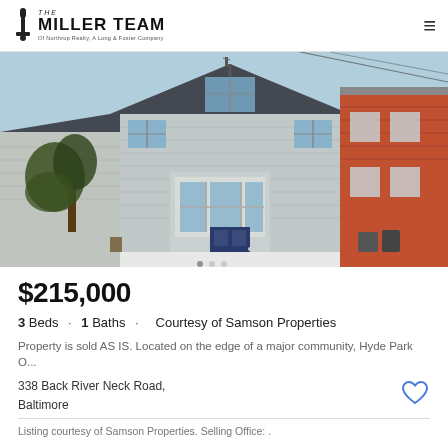The MILLER TEAM Of Northrop Realty, A Long & Foster Company
[Figure (photo): Exterior photo of a two-story gray siding house with a bay window, dark blue front door, steps leading to entrance, green lawn, bare tree in front yard, and a red brick building visible on the right side. Clear blue sky in background.]
$215,000
3 Beds · 1 Baths · Courtesy of Samson Properties
Property is sold AS IS. Located on the edge of a major community, Hyde Park O...
338 Back River Neck Road,
Baltimore
Listing courtesy of Samson Properties. Selling Office: .